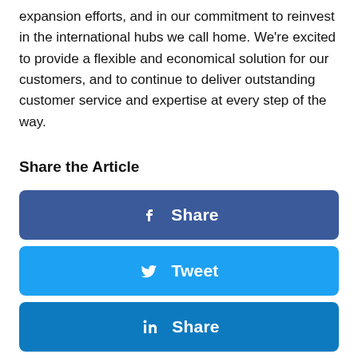expansion efforts, and in our commitment to reinvest in the international hubs we call home. We're excited to provide a flexible and economical solution for our customers, and to continue to deliver outstanding customer service and expertise at every step of the way.
Share the Article
[Figure (infographic): Three social share buttons: Facebook Share (dark blue), Twitter Tweet (light blue), LinkedIn Share (medium blue)]